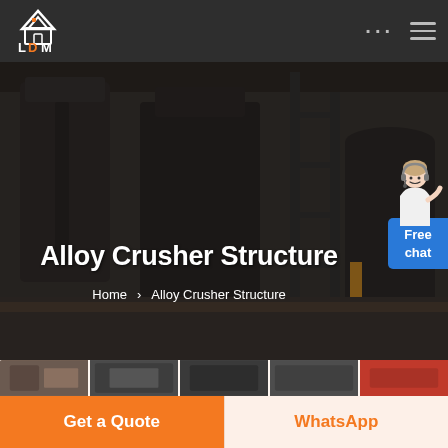[Figure (logo): LDM logo with house/roof icon in white and orange on dark background]
Alloy Crusher Structure
Home > Alloy Crusher Structure
[Figure (photo): Industrial facility interior with large machinery, crushers, silos and conveyors]
[Figure (illustration): Customer service avatar - person in white shirt with headset]
Free chat
[Figure (photo): Product thumbnail strip showing various crusher/mill machine images]
Get a Quote
WhatsApp